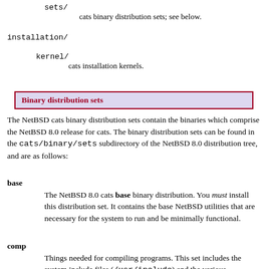sets/
    cats binary distribution sets; see below.
installation/
  kernel/
    cats installation kernels.
Binary distribution sets
The NetBSD cats binary distribution sets contain the binaries which comprise the NetBSD 8.0 release for cats. The binary distribution sets can be found in the cats/binary/sets subdirectory of the NetBSD 8.0 distribution tree, and are as follows:
base
  The NetBSD 8.0 cats base binary distribution. You must install this distribution set. It contains the base NetBSD utilities that are necessary for the system to run and be minimally functional.
comp
  Things needed for compiling programs. This set includes the system include files (/usr/include) and the various